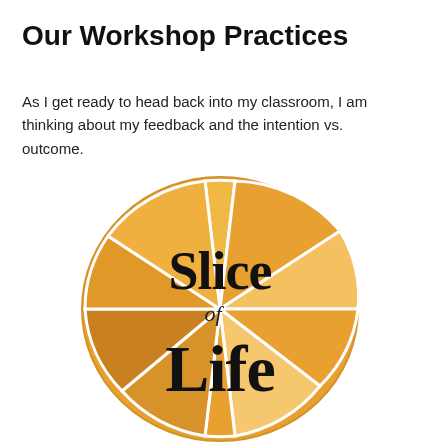Our Workshop Practices
As I get ready to head back into my classroom, I am thinking about my feedback and the intention vs. outcome.
[Figure (logo): Slice of Life logo — a circular orange cookie or tile divided into wedge segments resembling a citrus slice, with the text 'Slice of Life' written in large black serif lettering across the center.]